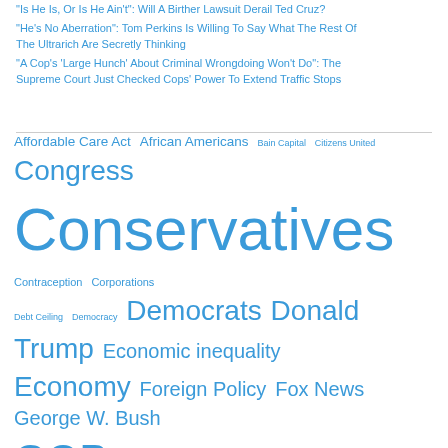"Is He Is, Or Is He Ain't": Will A Birther Lawsuit Derail Ted Cruz?
"He's No Aberration": Tom Perkins Is Willing To Say What The Rest Of The Ultrarich Are Secretly Thinking
"A Cop's 'Large Hunch' About Criminal Wrongdoing Won't Do": The Supreme Court Just Checked Cops' Power To Extend Traffic Stops
Affordable Care Act African Americans Bain Capital Citizens United Congress Conservatives Contraception Corporations Debt Ceiling Democracy Democrats Donald Trump Economic inequality Economy Foreign Policy Fox News George W. Bush GOP GOP Presidential Candidates Government Shutdown Gun Control Gun Violence Health Exchanges Health Insurance Hillary Clinton House Republicans Immigration Immigration Reform Iraq War ISIS Jeb Bush Jobs John Boehner John McCain Koch Brothers Lindsey Graham Marco Rubio media Medicaid Medicare Middle Class